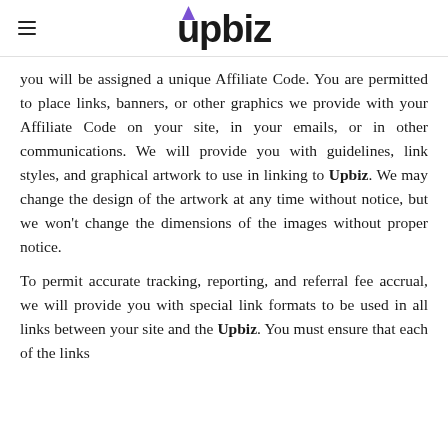upbiz
you will be assigned a unique Affiliate Code. You are permitted to place links, banners, or other graphics we provide with your Affiliate Code on your site, in your emails, or in other communications. We will provide you with guidelines, link styles, and graphical artwork to use in linking to Upbiz. We may change the design of the artwork at any time without notice, but we won’t change the dimensions of the images without proper notice.
To permit accurate tracking, reporting, and referral fee accrual, we will provide you with special link formats to be used in all links between your site and the Upbiz. You must ensure that each of the links